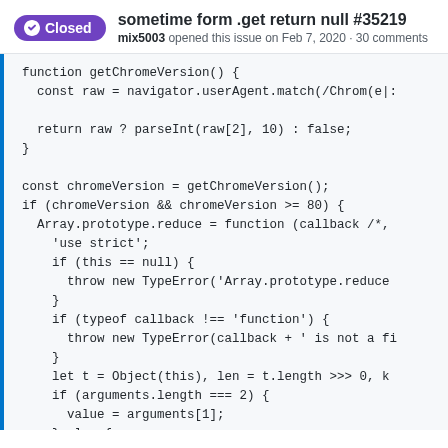sometime form .get return null #35219 — mix5003 opened this issue on Feb 7, 2020 · 30 comments
function getChromeVersion() {
  const raw = navigator.userAgent.match(/Chrom(e|:

  return raw ? parseInt(raw[2], 10) : false;
}

const chromeVersion = getChromeVersion();
if (chromeVersion && chromeVersion >= 80) {
  Array.prototype.reduce = function (callback /*,
    'use strict';
    if (this == null) {
      throw new TypeError('Array.prototype.reduce
    }
    if (typeof callback !== 'function') {
      throw new TypeError(callback + ' is not a fi
    }
    let t = Object(this), len = t.length >>> 0, k
    if (arguments.length === 2) {
      value = arguments[1];
    } else {
      while (k < len && !(k in t)) {
        k++;
      }
    }